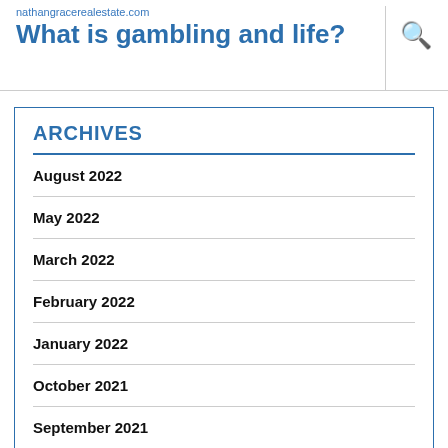nathangracerealestate.com
What is gambling and life?
ARCHIVES
August 2022
May 2022
March 2022
February 2022
January 2022
October 2021
September 2021